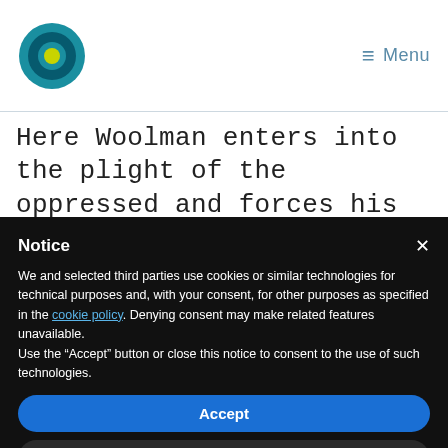[Figure (logo): Circular logo with teal outer ring, dark teal middle ring, and yellow/green center circle]
≡ Menu
Here Woolman enters into the plight of the oppressed and forces his readers to consider both their complicity in this
Notice
We and selected third parties use cookies or similar technologies for technical purposes and, with your consent, for other purposes as specified in the cookie policy. Denying consent may make related features unavailable.
Use the "Accept" button or close this notice to consent to the use of such technologies.
Accept
Learn more and customize